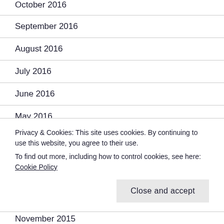October 2016
September 2016
August 2016
July 2016
June 2016
May 2016
April 2016
March 2016
Privacy & Cookies: This site uses cookies. By continuing to use this website, you agree to their use.
To find out more, including how to control cookies, see here: Cookie Policy
November 2015